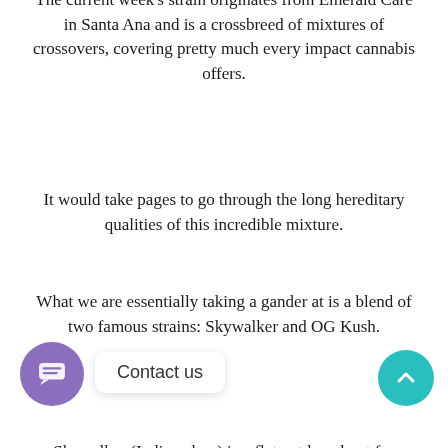The current week's strain originates from Emerald Care in Santa Ana and is a crossbreed of mixtures of crossovers, covering pretty much every impact cannabis offers.
It would take pages to go through the long hereditary qualities of this incredible mixture.
What we are essentially taking a gander at is a blend of two famous strains: Skywalker and OG Kush.
Skywalker (Indica–dom) is a flat out knockout for torment, and after a warm, physical pinnacle, it will put you down prepared to rest.
It is in itself a cross of indicas: Blueberry, which